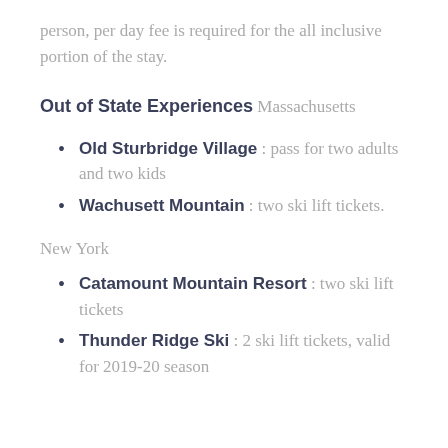person, per day fee is required for the all inclusive portion of the stay.
Out of State Experiences
Massachusetts
Old Sturbridge Village : pass for two adults and two kids
Wachusett Mountain : two ski lift tickets.
New York
Catamount Mountain Resort : two ski lift tickets
Thunder Ridge Ski : 2 ski lift tickets, valid for 2019-20 season